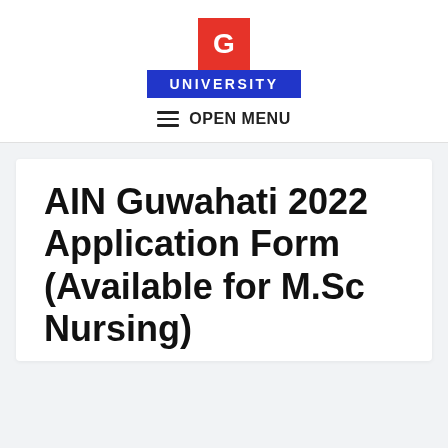[Figure (logo): G University logo: red square with white 'G' letter above a blue banner reading 'UNIVERSITY' in white bold text]
≡  OPEN MENU
AIN Guwahati 2022 Application Form (Available for M.Sc Nursing)